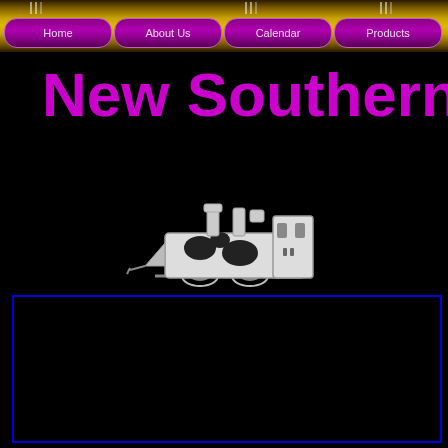Home | About Us | Calendar | Products
New Southern C
[Figure (logo): Cartoon train locomotive with cow-spot pattern (black spots on white), two smokestacks, side view facing left]